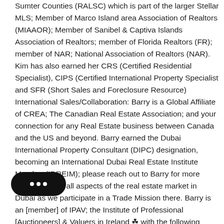Sumter Counties (RALSC) which is part of the larger Stellar MLS; Member of Marco Island area Association of Realtors (MIAAOR); Member of Sanibel & Captiva Islands Association of Realtors; member of Florida Realtors (FR); member of NAR; National Association of Realtors (NAR). Kim has also earned her CRS (Certified Residential Specialist), CIPS (Certified International Property Specialist and SFR (Short Sales and Foreclosure Resource) International Sales/Collaboration: Barry is a Global Affiliate of CREA; The Canadian Real Estate Association; and your connection for any Real Estate business between Canada and the US and beyond. Barry earned the Dubai International Property Consultant (DIPC) designation, becoming an International Dubai Real Estate Institute Member (IDREIM); please reach out to Barry for more information on all aspects of the real estate market in Dubai as we participate in a Trade Mission there. Barry is an [member] of IPAV; the Institute of Professional [Auctioneers] & Valuers in Ireland ☘ with the following designation: MIPAV (QS) MMCEPI Through IPAV; Barry is a member of the
[Figure (other): Chat bubble widget with three white dots on black rounded rectangle background]